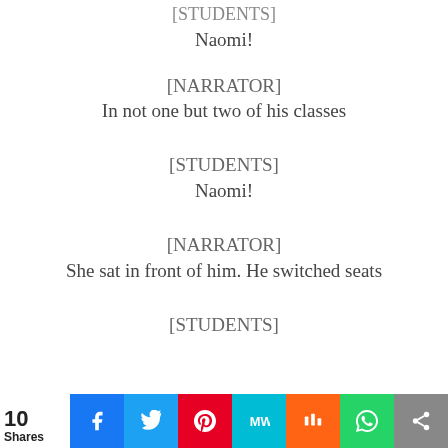[STUDENTS]
Naomi!
[NARRATOR]
In not one but two of his classes
[STUDENTS]
Naomi!
[NARRATOR]
She sat in front of him. He switched seats
[STUDENTS]
10 Shares — social share bar (Facebook, Twitter, Pinterest, MeWe, Mix, WhatsApp, Share)